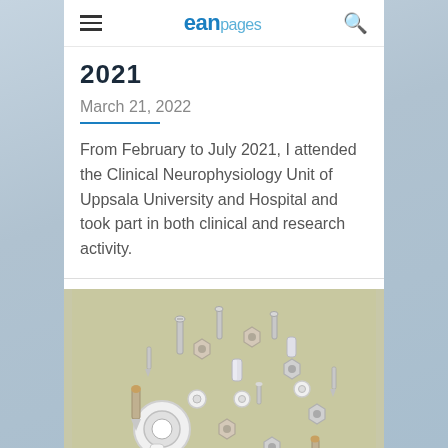ean pages
2021
March 21, 2022
From February to July 2021, I attended the Clinical Neurophysiology Unit of Uppsala University and Hospital and took part in both clinical and research activity.
[Figure (photo): A brain-shaped arrangement of various metal hardware items including screws, bolts, nuts, washers, and other metal components on a light olive/green background.]